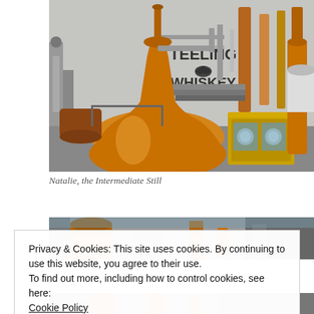[Figure (photo): Interior of a whiskey distillery showing large copper pot stills with the 'Teeling Whiskey' logo painted on the wall in the background. Copper pipes, industrial equipment, and a brass spirit safe are visible.]
Natalie, the Intermediate Still
[Figure (photo): Partial view of another distillery photo, showing the top of copper stills and industrial equipment.]
Privacy & Cookies: This site uses cookies. By continuing to use this website, you agree to their use.
To find out more, including how to control cookies, see here:
Cookie Policy